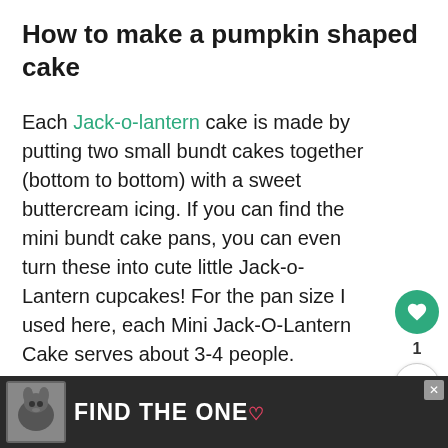How to make a pumpkin shaped cake
Each Jack-o-lantern cake is made by putting two small bundt cakes together (bottom to bottom) with a sweet buttercream icing. If you can find the mini bundt cake pans, you can even turn these into cute little Jack-o-Lantern cupcakes! For the pan size I used here, each Mini Jack-O-Lantern Cake serves about 3-4 people.
Once the cakes are baked, cooled, and
fro... ou like or t... / corn
[Figure (infographic): Advertisement banner with dog image and text FIND THE ONE with a heart symbol and close button]